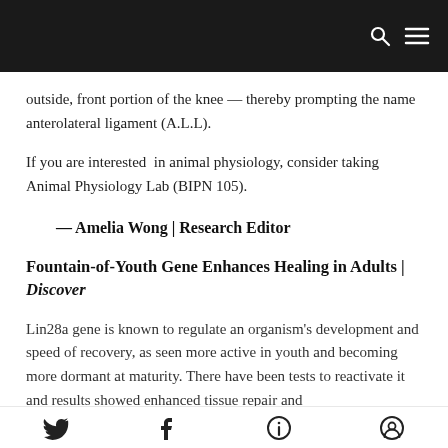outside, front portion of the knee — thereby prompting the name anterolateral ligament (A.L.L).
If you are interested in animal physiology, consider taking Animal Physiology Lab (BIPN 105).
— Amelia Wong | Research Editor
Fountain-of-Youth Gene Enhances Healing in Adults | Discover
Lin28a gene is known to regulate an organism's development and speed of recovery, as seen more active in youth and becoming more dormant at maturity. There have been tests to reactivate it and results showed enhanced tissue repair and